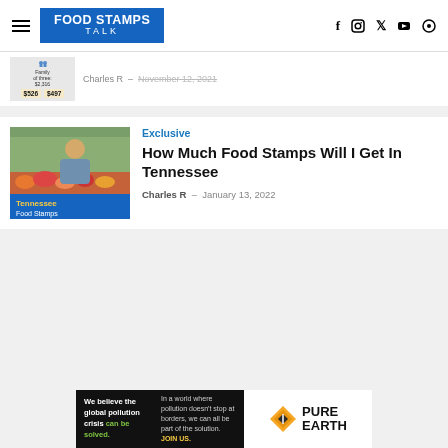Food Stamps Talk
[Figure (screenshot): Partial article thumbnail showing family of three with $526 and $497 amounts]
Charles R — November 12, 2021
[Figure (photo): Tennessee Food Stamps Calculator article thumbnail showing person at farmer's market]
Exclusive
How Much Food Stamps Will I Get In Tennessee
Charles R — January 13, 2022
[Figure (other): Pure Earth advertisement banner: We believe the global pollution crisis can be solved. In a world where pollution doesn't stop at borders, we can all be part of the solution. JOIN US.]